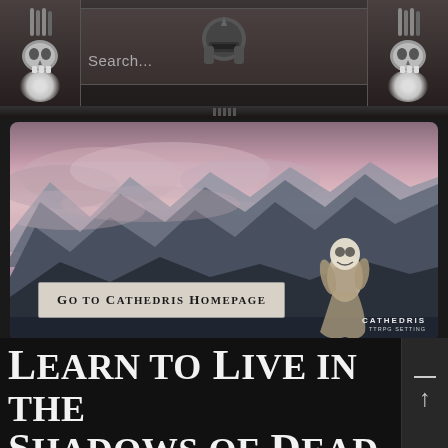[Figure (screenshot): Website navigation bar with dark stone/gothic theme. Features two skull-and-pencil icons on left and right sides, a search box in the center-left area with placeholder text 'Search...', and a central helmet/skull icon at top center.]
Search...
[Figure (illustration): Fantasy landscape illustration showing purple-hued mountains at dusk/dawn with pink and purple sky and clouds. A large armored creature or golem figure stands on the right side among the mountains. Small 'CATHEDRIS' watermark in bottom right corner.]
Go to Cathedris Homepage
Learn to Live in the Shadows of Dead